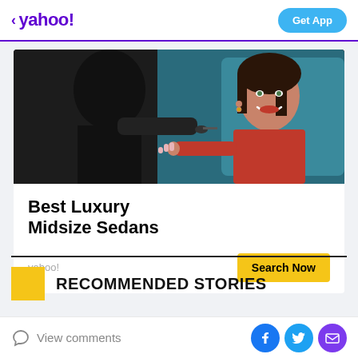< yahoo! | Get App
[Figure (photo): Person in red clothing being handed car keys, smiling, inside a car dealership or vehicle setting]
Best Luxury Midsize Sedans
yahoo! | Search Now
RECOMMENDED STORIES
View comments | Facebook | Twitter | Mail